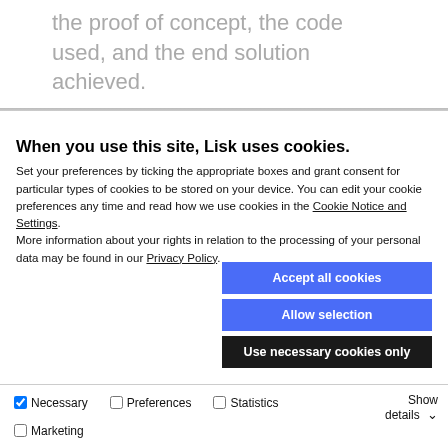the proof of concept, the code used, and the end solution achieved.
When you use this site, Lisk uses cookies. Set your preferences by ticking the appropriate boxes and grant consent for particular types of cookies to be stored on your device. You can edit your cookie preferences any time and read how we use cookies in the Cookie Notice and Settings. More information about your rights in relation to the processing of your personal data may be found in our Privacy Policy.
Accept all cookies
Allow selection
Use necessary cookies only
Necessary  Preferences  Statistics  Marketing  Show details